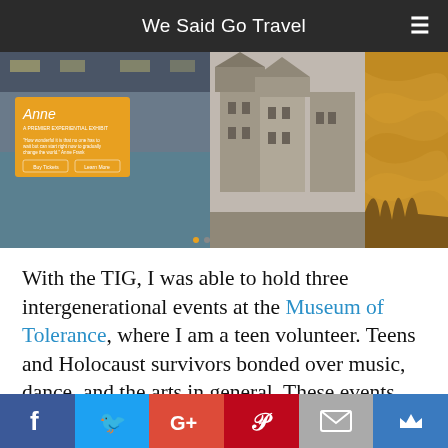We Said Go Travel
[Figure (photo): Museum of Tolerance exhibition hall montage: left panel shows an immersive exhibit interior with orange Anne Frank themed signage, quote text, Buy Tickets and Learn More buttons; center panel shows a black and white historical photograph of a European city street with old buildings; right panel shows an abstract golden/brown textured pattern.]
With the TIG, I was able to hold three intergenerational events at the Museum of Tolerance, where I am a teen volunteer. Teens and Holocaust survivors bonded over music, dance, and the arts in general. These events allowed teenagers and Holocaust survivors to build intergenerational relationships.
f  Twitter  G+  Pinterest  Email  Crown